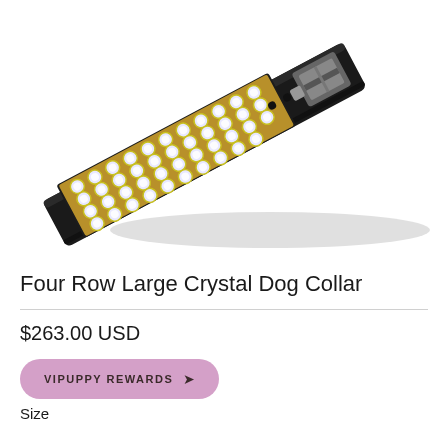[Figure (photo): A black leather dog collar adorned with four rows of large crystal rhinestones in gold settings, shown at an angle with a silver metal buckle visible at the right end. The collar is displayed on a white background.]
Four Row Large Crystal Dog Collar
$263.00 USD
VIPUPPY REWARDS
Size